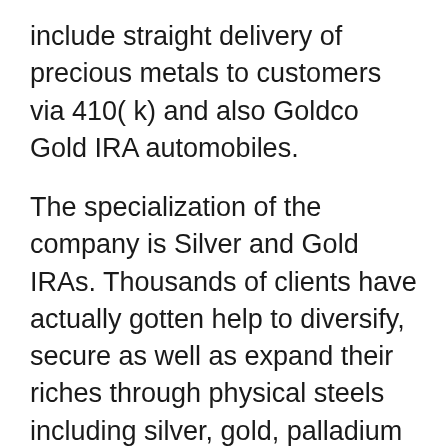include straight delivery of precious metals to customers via 410( k) and also Goldco Gold IRA automobiles.
The specialization of the company is Silver and Gold IRAs. Thousands of clients have actually gotten help to diversify, secure as well as expand their riches through physical steels including silver, gold, palladium and also platinum. The company takes pride in ensuring its customers get superb customer support as well as has attained a online reputation for both phenomenal academic sources and exceptionally premium solution. Capitalists intriguing in hands-off diversification are excellent prospects for a Silver or Gold Individual Retirement Account.